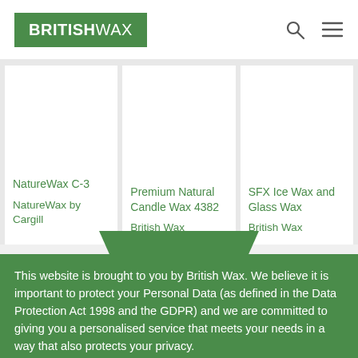BRITISH WAX
NatureWax C-3
NatureWax by Cargill
Premium Natural Candle Wax 4382
British Wax
SFX Ice Wax and Glass Wax
British Wax
This website is brought to you by British Wax. We believe it is important to protect your Personal Data (as defined in the Data Protection Act 1998 and the GDPR) and we are committed to giving you a personalised service that meets your needs in a way that also protects your privacy.
Accept